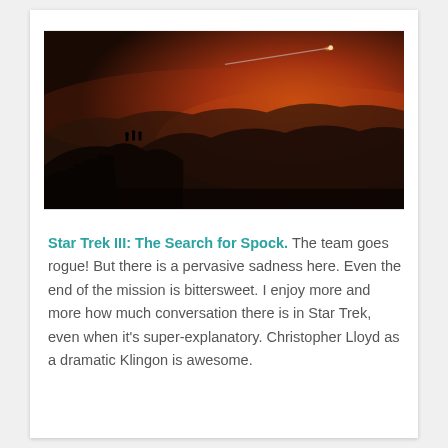[Figure (photo): A dramatic night scene showing silhouetted mountain ridgelines against a deep orange-red sky. Three small human figures stand on the nearest ridge. A bright comet or meteor with a long streak of light crosses the upper portion of the sky diagonally.]
Star Trek III: The Search for Spock. The team goes rogue! But there is a pervasive sadness here. Even the end of the mission is bittersweet. I enjoy more and more how much conversation there is in Star Trek, even when it's super-explanatory. Christopher Lloyd as a dramatic Klingon is awesome.